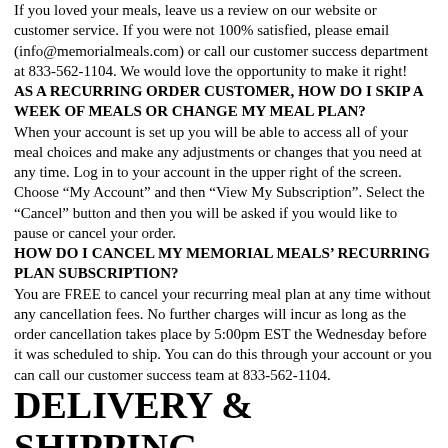If you loved your meals, leave us a review on our website or customer service. If you were not 100% satisfied, please email (info@memorialmeals.com) or call our customer success department at 833-562-1104. We would love the opportunity to make it right!
AS A RECURRING ORDER CUSTOMER, HOW DO I SKIP A WEEK OF MEALS OR CHANGE MY MEAL PLAN?
When your account is set up you will be able to access all of your meal choices and make any adjustments or changes that you need at any time. Log in to your account in the upper right of the screen. Choose “My Account” and then “View My Subscription”. Select the “Cancel” button and then you will be asked if you would like to pause or cancel your order.
HOW DO I CANCEL MY MEMORIAL MEALS’ RECURRING PLAN SUBSCRIPTION?
You are FREE to cancel your recurring meal plan at any time without any cancellation fees. No further charges will incur as long as the order cancellation takes place by 5:00pm EST the Wednesday before it was scheduled to ship. You can do this through your account or you can call our customer success team at 833-562-1104.
DELIVERY & SHIPPING
HOW DOES SHIPPING & DELIVERY WORK?
Once your order is ready for shipping, a label will be created with the carrier and you will receive an email with tracking information.